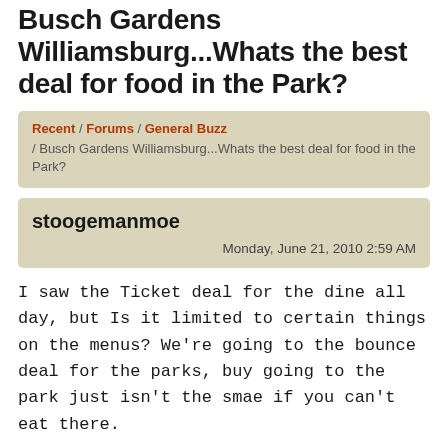Busch Gardens Williamsburg...Whats the best deal for food in the Park?
Recent / Forums / General Buzz / Busch Gardens Williamsburg...Whats the best deal for food in the Park?
stoogemanmoe
Monday, June 21, 2010 2:59 AM
I saw the Ticket deal for the dine all day, but Is it limited to certain things on the menus? We're going to the bounce deal for the parks, buy going to the park just isn't the smae if you can't eat there.